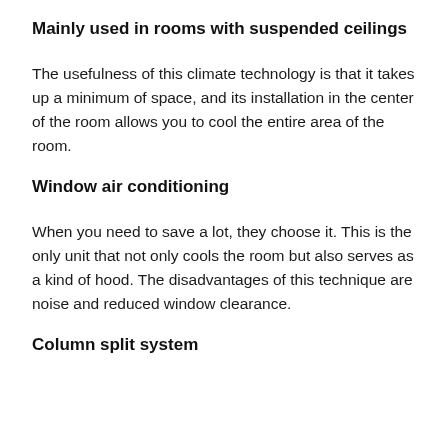Mainly used in rooms with suspended ceilings
The usefulness of this climate technology is that it takes up a minimum of space, and its installation in the center of the room allows you to cool the entire area of the room.
Window air conditioning
When you need to save a lot, they choose it. This is the only unit that not only cools the room but also serves as a kind of hood. The disadvantages of this technique are noise and reduced window clearance.
Column split system